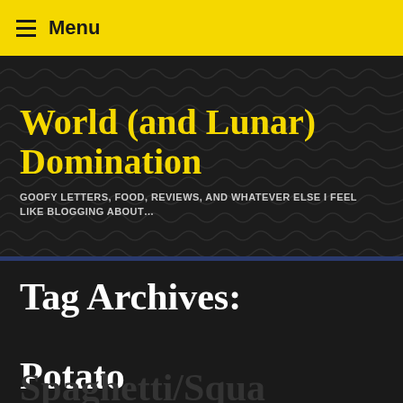Menu
World (and Lunar) Domination
GOOFY LETTERS, FOOD, REVIEWS, AND WHATEVER ELSE I FEEL LIKE BLOGGING ABOUT…
Tag Archives: Potato
Spaghetti/Squash Pile…